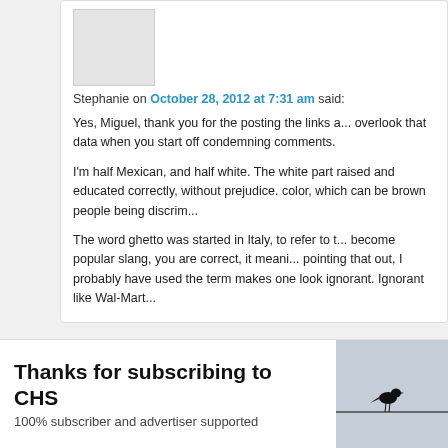[Figure (screenshot): Comment block with avatar placeholder image, comment metadata, and comment text from Stephanie on October 28, 2012]
Stephanie on October 28, 2012 at 7:31 am said:
Yes, Miguel, thank you for the posting the links a... overlook that data when you start off condemning... comments.
I'm half Mexican, and half white. The white part... raised and educated correctly, without prejudice. color, which can be brown people being discrim...
The word ghetto was started in Italy, to refer to t... become popular slang, you are correct, it meani... pointing that out, I probably have used the term... makes one look ignorant. Ignorant like Wal-Mart...
Thanks for subscribing to CHS
100% subscriber and advertiser supported
[Figure (photo): Black bird silhouette sitting on a wire against grey sky background]